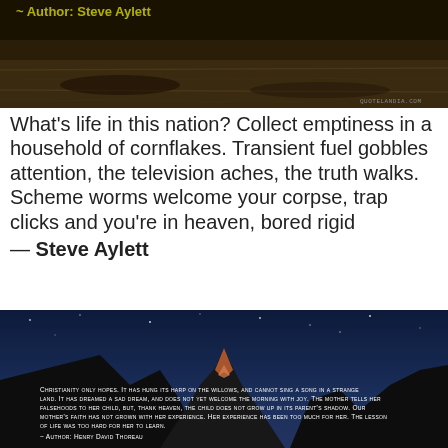[Figure (photo): Dark outdoor scene with dirt ground and overlay text: author attribution to Steve Aylett in yellow text on dark background]
What's life in this nation? Collect emptiness in a household of cornflakes. Transient fuel gobbles attention, the television aches, the truth walks. Scheme worms welcome your corpse, trap clicks and you're in heaven, bored rigid
— Steve Aylett
[Figure (photo): Night mountain scene (Matterhorn-like peak) with quote overlay: 'Christianity only hopes. It has hung its harp on the willows, and cannot sing a song in a strange land. It has dreamed a sad dream, and does not yet welcome the morning with joy. The mother tells her falsehoods to her child, but, thank heaven, the child does not grow up in its parent's shadow. Our mother's faith has not grown with her experience. Her experience has been too much for her. The lesson of life was too hard for her to learn. ~ Author: Henry David Thoreau' in white small caps text]